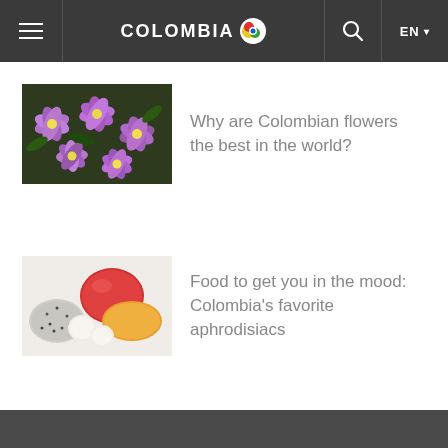COLOMBIA CO  EN
[Figure (photo): Purple Colombian flowers close-up]
Why are Colombian flowers the best in the world?
[Figure (photo): Colorful tropical fruits including dragon fruit, mango, and lychee]
Food to get you in the mood: Colombia's favorite aphrodisiacs